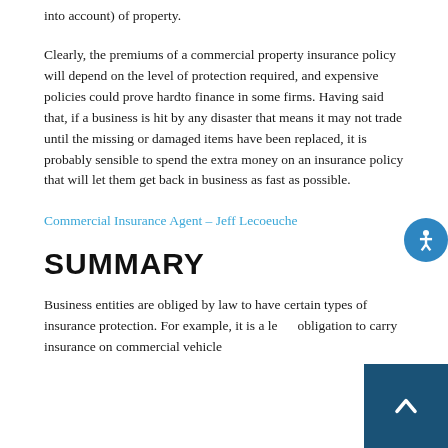into account) of property.
Clearly, the premiums of a commercial property insurance policy will depend on the level of protection required, and expensive policies could prove hardto finance in some firms. Having said that, if a business is hit by any disaster that means it may not trade until the missing or damaged items have been replaced, it is probably sensible to spend the extra money on an insurance policy that will let them get back in business as fast as possible.
Commercial Insurance Agent – Jeff Lecoeuche
SUMMARY
Business entities are obliged by law to have certain types of insurance protection. For example, it is a legal obligation to carry insurance on commercial vehicles. Other kinds of insurance...